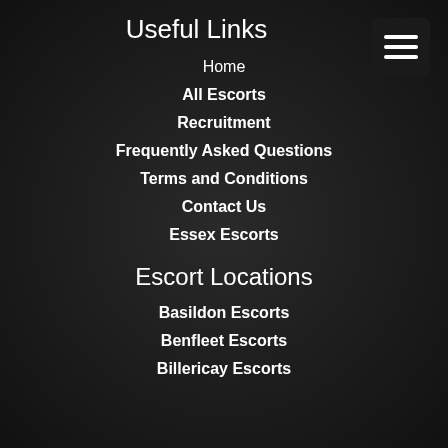Useful Links
Home
All Escorts
Recruitment
Frequently Asked Questions
Terms and Conditions
Contact Us
Essex Escorts
Escort Locations
Basildon Escorts
Benfleet Escorts
Billericay Escorts